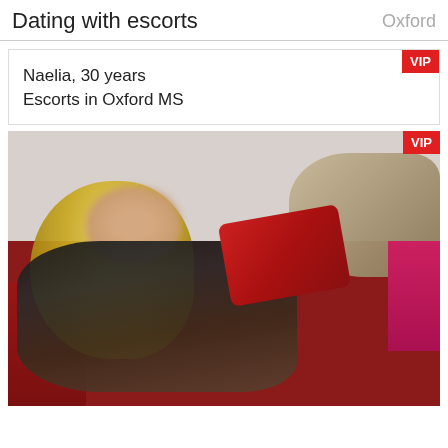Dating with escorts   Oxford
Naelia, 30 years
Escorts in Oxford MS
[Figure (photo): Blonde woman reclining on a red couch with red and beige pillows, wearing a dark top with fur wrap, VIP badge in top right corner]
VIP